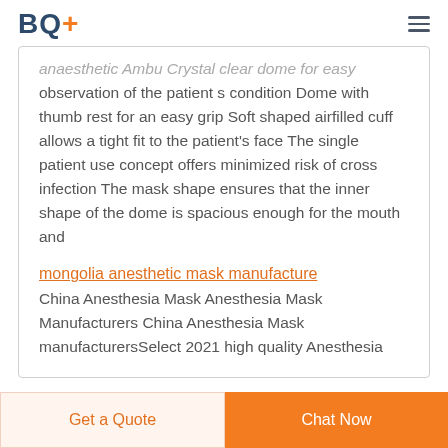BQ+
anaesthetic Ambu Crystal clear dome for easy observation of the patient s condition Dome with thumb rest for an easy grip Soft shaped airfilled cuff allows a tight fit to the patient's face The single patient use concept offers minimized risk of cross infection The mask shape ensures that the inner shape of the dome is spacious enough for the mouth and
mongolia anesthetic mask manufacture
China Anesthesia Mask Anesthesia Mask Manufacturers China Anesthesia Mask manufacturersSelect 2021 high quality Anesthesia
Get a Quote | Chat Now